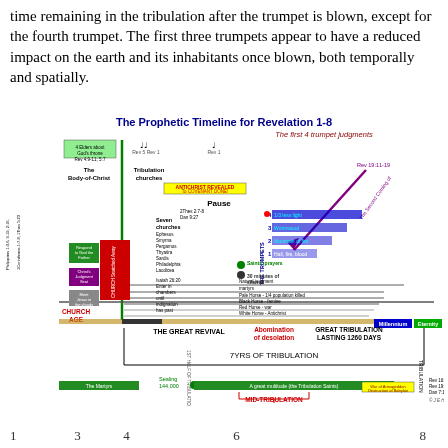time remaining in the tribulation after the trumpet is blown, except for the fourth trumpet. The first three trumpets appear to have a reduced impact on the earth and its inhabitants once blown, both temporally and spatially.
[Figure (infographic): The Prophetic Timeline for Revelation 1-8 diagram showing the first 4 trumpet judgments, with timelines for Church Age, tribulation churches, seven churches, trumpets, seals, great revival, abomination of desolation, great tribulation, millennium, and eternity.]
1   3  4      6          8